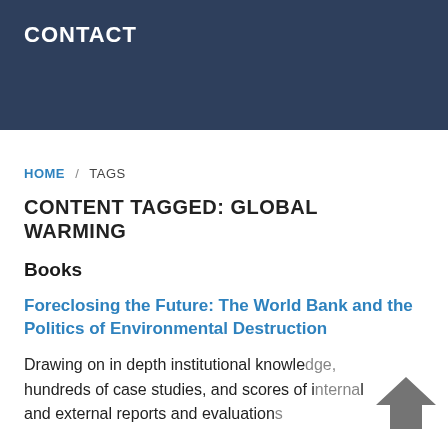CONTACT
HOME / TAGS
CONTENT TAGGED: GLOBAL WARMING
Books
Foreclosing the Future: The World Bank and the Politics of Environmental Destruction
Drawing on in depth institutional knowledge, hundreds of case studies, and scores of internal and external reports and evaluations